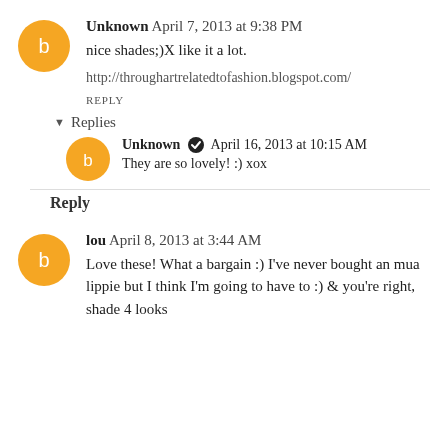Unknown April 7, 2013 at 9:38 PM
nice shades;)X like it a lot.
http://throughartrelatedtofashion.blogspot.com/
REPLY
Replies
Unknown April 16, 2013 at 10:15 AM
They are so lovely! :) xox
Reply
lou April 8, 2013 at 3:44 AM
Love these! What a bargain :) I've never bought an mua lippie but I think I'm going to have to :) & you're right, shade 4 looks